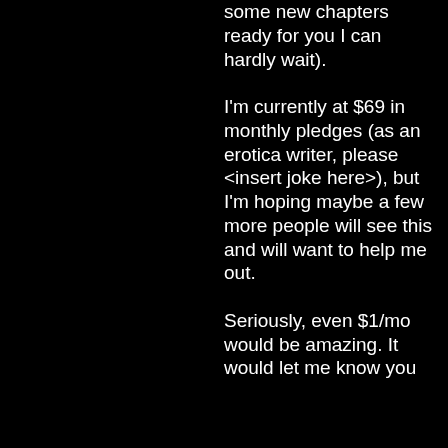some new chapters ready for you I can hardly wait).

I'm currently at $69 in monthly pledges (as an erotica writer, please <insert joke here>), but I'm hoping maybe a few more people will see this and will want to help me out.

Seriously, even $1/mo would be amazing. It would let me know you